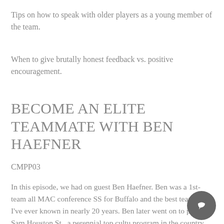Tips on how to speak with older players as a young member of the team.
When to give brutally honest feedback vs. positive encouragement.
BECOME AN ELITE TEAMMATE WITH BEN HAEFNER
CMPP03
In this episode, we had on guest Ben Haefner. Ben was a 1st-team all MAC conference SS for Buffalo and the best teammate I've ever known in nearly 20 years. Ben later went on to play for Sam Houston St., a perennial top cultu program in the country under Coach Mat
[Figure (other): Chat bubble icon overlay in bottom right corner]